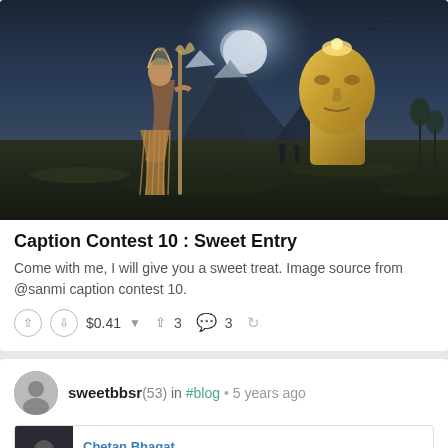[Figure (photo): Fantasy digital art showing a tribal woman in grass skirt holding a staff in a dark mountain landscape, with a giant golden Egyptian-style face/mask statue visible in the background under a moonlit sky.]
Caption Contest 10 : Sweet Entry
Come with me, I will give you a sweet treat. Image source from @sanmi caption contest 10.
$0.41   3   3
sweetbbsr (53) in #blog • 5 years ago
Chetan Bhagat
7 December 2014 · 🌐